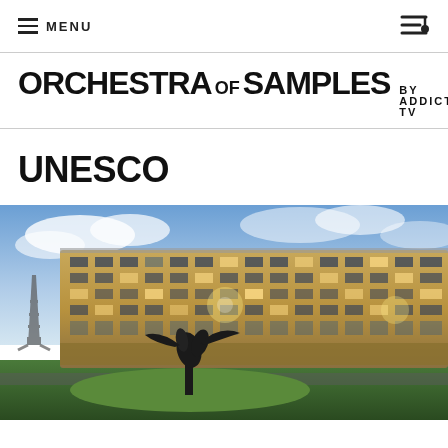MENU
ORCHESTRA OF SAMPLES BY ADDICTIVE TV
UNESCO
[Figure (photo): Exterior photograph of the UNESCO headquarters building in Paris, showing the curved modernist concrete and glass facade with multiple stories of windows. The Eiffel Tower is visible in the background on the left. A large abstract black metal sculpture stands in the foreground on a circular lawn. The sky is blue with clouds and warm golden light illuminates the building.]